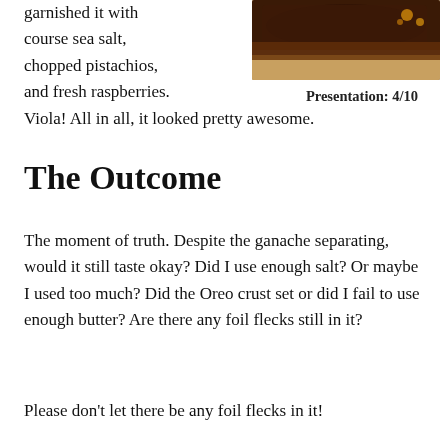garnished it with course sea salt, chopped pistachios, and fresh raspberries.
[Figure (photo): Close-up photo of a chocolate dessert bar/slice with a dark brown ganache top, viewed from the side on a white surface.]
Presentation: 4/10
Viola! All in all, it looked pretty awesome.
The Outcome
The moment of truth. Despite the ganache separating, would it still taste okay? Did I use enough salt? Or maybe I used too much? Did the Oreo crust set or did I fail to use enough butter? Are there any foil flecks still in it?
Please don't let there be any foil flecks in it!